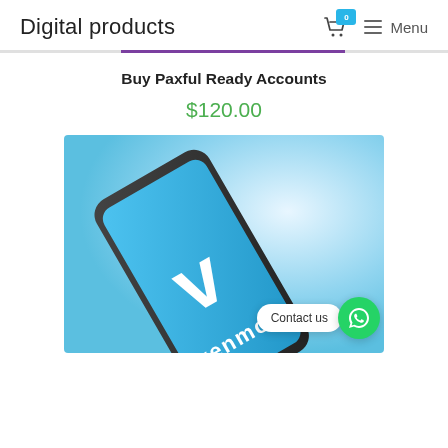Digital products
Buy Paxful Ready Accounts
$120.00
[Figure (photo): Smartphone displaying the Venmo app logo (white V) on a blue background, shown at an angle. A 'Contact us' chat bubble and WhatsApp icon appear in the bottom right corner.]